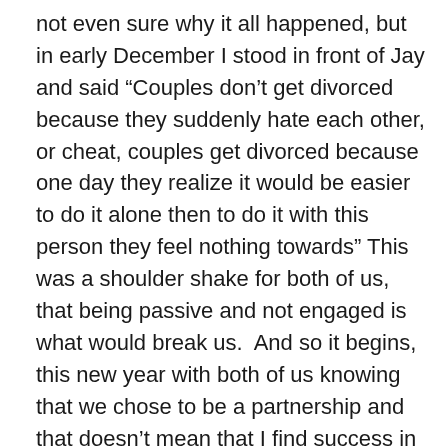not even sure why it all happened, but in early December I stood in front of Jay and said “Couples don’t get divorced because they suddenly hate each other, or cheat, couples get divorced because one day they realize it would be easier to do it alone then to do it with this person they feel nothing towards” This was a shoulder shake for both of us, that being passive and not engaged is what would break us.  And so it begins, this new year with both of us knowing that we chose to be a partnership and that doesn’t mean that I find success in my life and he finds success in his life, its that we we find success together, that we take interest, that we stop taking advantage, that we push ourselves to care, to find fire, to trust again.
Was 2017 not the most eye opening year? To see what the world is capable of, what happens when people are scared or afraid, or OVER IT? In my home and in my